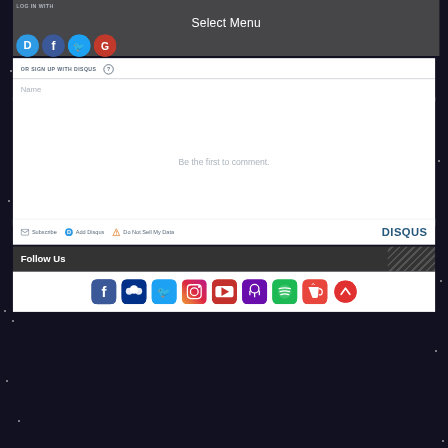LOG IN WITH
Select Menu
[Figure (other): Social login icons: Disqus (D), Facebook (f), Twitter bird, Google (G) in colored circles]
OR SIGN UP WITH DISQUS ?
Name
Be the first to comment.
Subscribe  Add Disqus  Do Not Sell My Data  DISQUS
Follow Us
[Figure (other): Social media app icons row: Facebook, MySpace/Groups, Twitter, Instagram, YouTube, Podcast, Spotify, Ko-fi, and a red back-to-top arrow button]